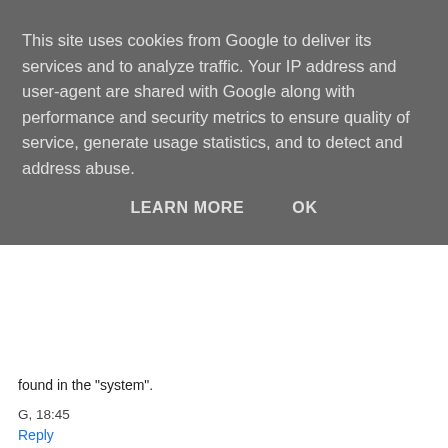This site uses cookies from Google to deliver its services and to analyze traffic. Your IP address and user-agent are shared with Google along with performance and security metrics to ensure quality of service, generate usage statistics, and to detect and address abuse.
LEARN MORE    OK
found in the "system".
G, 18:45
Reply
bulbul  19/3/07 21:01
Vladimír,
The way I read it, when our purists - e.g. prof. Kráľ - refer to "the system" they speak of its regularity more often than not. It's very idea of irregularity and/or variation ("hranolky" instead of "hranolčeky", "u Sone" instead of "u Soni" - or possibly the other way around) that offends them. Or rather